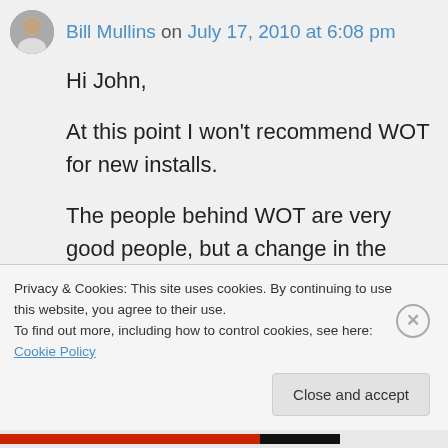Bill Mullins on July 17, 2010 at 6:08 pm
Hi John,
At this point I won't recommend WOT for new installs.
The people behind WOT are very good people, but a change in the “community driven” aspect is long overdue, in my view. Depending on individuals to provide an honest assessment of their web site
Privacy & Cookies: This site uses cookies. By continuing to use this website, you agree to their use.
To find out more, including how to control cookies, see here: Cookie Policy
Close and accept